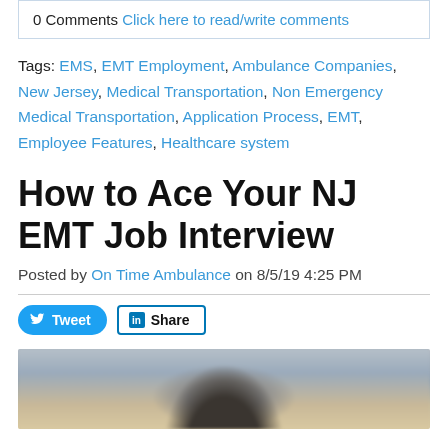0 Comments Click here to read/write comments
Tags: EMS, EMT Employment, Ambulance Companies, New Jersey, Medical Transportation, Non Emergency Medical Transportation, Application Process, EMT, Employee Features, Healthcare system
How to Ace Your NJ EMT Job Interview
Posted by On Time Ambulance on 8/5/19 4:25 PM
[Figure (other): Social sharing buttons: Tweet (Twitter) and Share (LinkedIn)]
[Figure (photo): A blurred photo of a person, likely in a professional or medical setting]